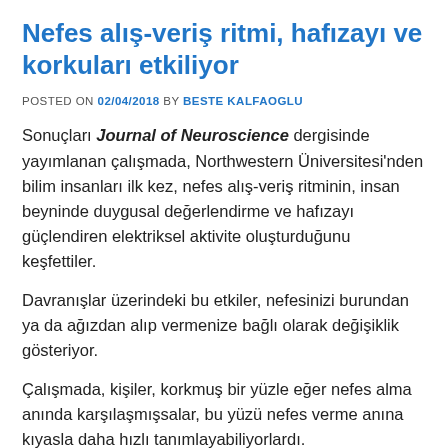Nefes alış-veriş ritmi, hafızayı ve korkuları etkiliyor
POSTED ON 02/04/2018 BY BESTE KALFAOGLU
Sonuçları Journal of Neuroscience dergisinde yayımlanan çalışmada, Northwestern Üniversitesi'nden bilim insanları ilk kez, nefes alış-veriş ritminin, insan beyninde duygusal değerlendirme ve hafızayı güçlendiren elektriksel aktivite oluşturduğunu keşfettiler.
Davranışlar üzerindeki bu etkiler, nefesinizi burundan ya da ağızdan alıp vermenize bağlı olarak değişiklik gösteriyor.
Çalışmada, kişiler, korkmuş bir yüzle eğer nefes alma anında karşılaşmışsalar, bu yüzü nefes verme anına kıyasla daha hızlı tanımlayabiliyorlardı.
Northwestern Üniversitesi Feinberg Tıp Fakültesi